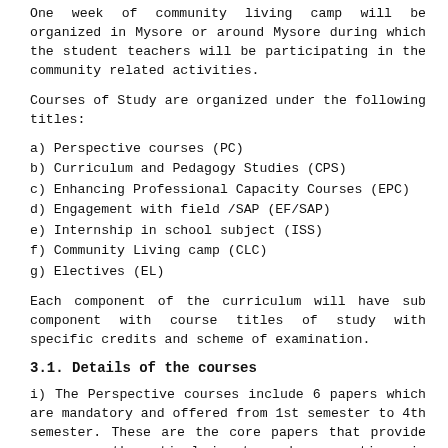One week of community living camp will be organized in Mysore or around Mysore during which the student teachers will be participating in the community related activities.
Courses of Study are organized under the following titles:
a) Perspective courses (PC)
b) Curriculum and Pedagogy Studies (CPS)
c) Enhancing Professional Capacity Courses (EPC)
d) Engagement with field /SAP (EF/SAP)
e) Internship in school subject (ISS)
f) Community Living camp (CLC)
g) Electives (EL)
Each component of the curriculum will have sub component with course titles of study with specific credits and scheme of examination.
3.1. Details of the courses
i) The Perspective courses include 6 papers which are mandatory and offered from 1st semester to 4th semester. These are the core papers that provide necessary theoretical inputs and perspectives in understanding Education, learner, learning, teaching and the curriculum in the context of school